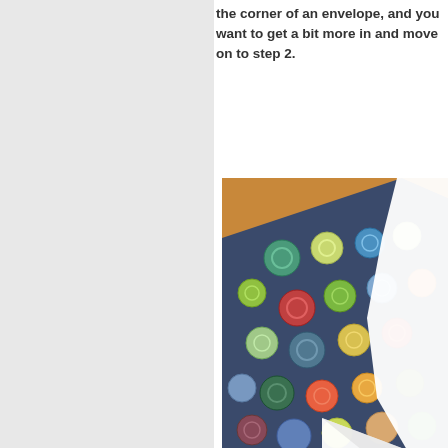the corner of an envelope, and you want to get a bit more in and move on to step 2.
[Figure (photo): Photo showing fabric with colorful circle patterns on a wooden floor, with white paper folded into an envelope corner shape on top of the fabric.]